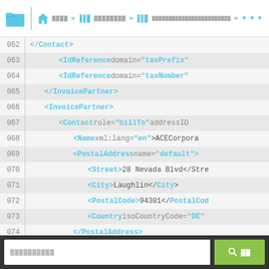Navigation bar with folder icon, home icon, breadcrumb icons and menu items
[Figure (screenshot): XML code editor showing lines 062-084 of an XML document with InvoicePartner, Contact, PostalAddress, Phone, TelephoneNumber elements]
Search bar with green search button